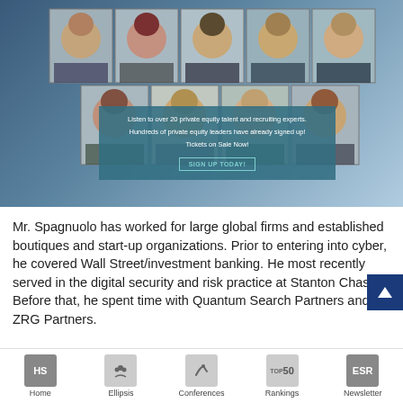[Figure (photo): Promotional banner showing a collage of approximately 10 professional headshots arranged in a 5x2 grid against a blue building background, with an overlay text box advertising a private equity talent and recruiting event. Text reads: 'Listen to over 20 private equity talent and recruiting experts. Hundreds of private equity leaders have already signed up! Tickets on Sale Now!' with a 'SIGN UP TODAY!' button.]
Mr. Spagnuolo has worked for large global firms and established boutiques and start-up organizations. Prior to entering into cyber, he covered Wall Street/investment banking. He most recently served in the digital security and risk practice at Stanton Chase. Before that, he spent time with Quantum Search Partners and ZRG Partners.
Home | Ellipsis | Conferences | Rankings | Newsletter